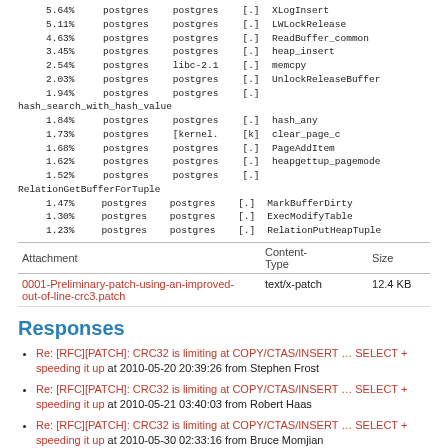|  |  |  |  |  |
| --- | --- | --- | --- | --- |
| 5.64% | postgres | postgres | [.] | XLogInsert |
| 5.11% | postgres | postgres | [.] | LWLockRelease |
| 4.63% | postgres | postgres | [.] | ReadBuffer_common |
| 3.45% | postgres | postgres | [.] | heap_insert |
| 2.54% | postgres | libc-2.1 | [.] | memcpy |
| 2.03% | postgres | postgres | [.] | UnlockReleaseBuffer |
| 1.94% | postgres | postgres | [.] | hash_search_with_hash_value |
| 1.84% | postgres | postgres | [.] | hash_any |
| 1.73% | postgres | [kernel. | [k] | clear_page_c |
| 1.68% | postgres | postgres | [.] | PageAddItem |
| 1.62% | postgres | postgres | [.] | heapgettup_pagemode |
| 1.52% | postgres | postgres | [.] | RelationGetBufferForTuple |
| 1.47% | postgres | postgres | [.] | MarkBufferDirty |
| 1.30% | postgres | postgres | [.] | ExecModifyTable |
| 1.23% | postgres | postgres | [.] | RelationPutHeapTuple |
| Attachment | Content-Type | Size |
| --- | --- | --- |
| 0001-Preliminary-patch-using-an-improved-out-of-line-crc3.patch | text/x-patch | 12.4 KB |
Responses
Re: [RFC][PATCH]: CRC32 is limiting at COPY/CTAS/INSERT … SELECT + speeding it up at 2010-05-20 20:39:26 from Stephen Frost
Re: [RFC][PATCH]: CRC32 is limiting at COPY/CTAS/INSERT … SELECT + speeding it up at 2010-05-21 03:40:03 from Robert Haas
Re: [RFC][PATCH]: CRC32 is limiting at COPY/CTAS/INSERT … SELECT + speeding it up at 2010-05-30 02:33:16 from Bruce Momjian